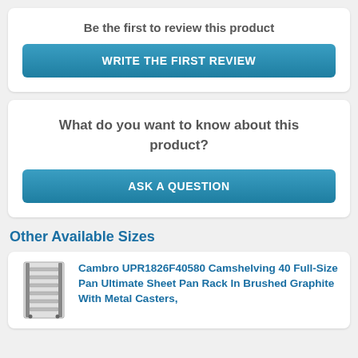Be the first to review this product
WRITE THE FIRST REVIEW
What do you want to know about this product?
ASK A QUESTION
Other Available Sizes
[Figure (photo): Product image of a metal sheet pan rack in brushed graphite]
Cambro UPR1826F40580 Camshelving 40 Full-Size Pan Ultimate Sheet Pan Rack In Brushed Graphite With Metal Casters,